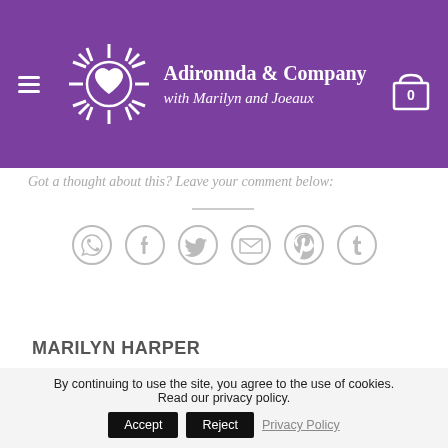Adironnda & Company with Marilyn and Joeaux
Got a thought about this? Leave your comment below:
[Figure (infographic): Social share icons: WhatsApp, Facebook, Twitter, Email, Pinterest, Tumblr — all circular grey outlined icons]
MARILYN HARPER
Freaking Out?
You Look Good!
By continuing to use the site, you agree to the use of cookies. Read our privacy policy.
Accept
Reject
Privacy Policy